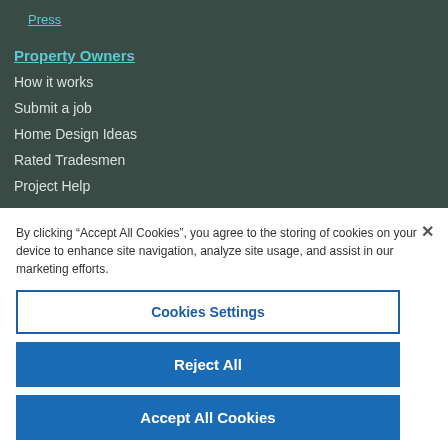Press
Property Owners
How it works
Submit a job
Home Design Ideas
Rated Tradesmen
Project Help
By clicking “Accept All Cookies”, you agree to the storing of cookies on your device to enhance site navigation, analyze site usage, and assist in our marketing efforts.
Cookies Settings
Reject All
Accept All Cookies